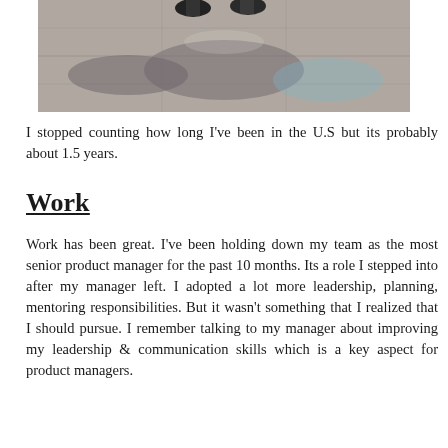[Figure (photo): A photo showing legs and feet of a person standing on a decorative concrete or stone floor with colorful reflections or markings visible on the surface.]
I stopped counting how long I've been in the U.S but its probably about 1.5 years.
Work
Work has been great. I've been holding down my team as the most senior product manager for the past 10 months. Its a role I stepped into after my manager left. I adopted a lot more leadership, planning, mentoring responsibilities. But it wasn't something that I realized that I should pursue. I remember talking to my manager about improving my leadership & communication skills which is a key aspect for product managers.